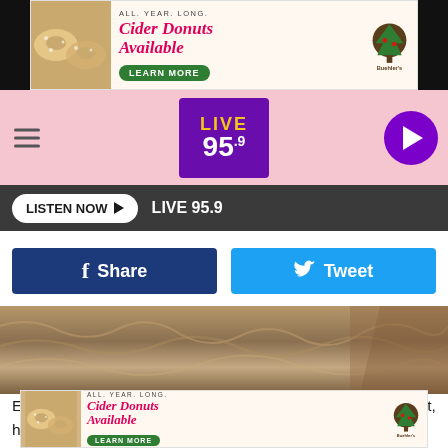[Figure (screenshot): Cider Donuts Available advertisement banner - top]
[Figure (screenshot): Live 95.9 radio station navigation bar with hamburger menu and play button]
LISTEN NOW ▶  LIVE 95.9
[Figure (screenshot): Facebook Share and Twitter Tweet social sharing buttons]
[Figure (photo): Close-up photo of a fluffy dog, likely golden or cream colored fur]
Even though Rufus didn't like his previous adopter's other cat, he tolerates most cats, but should not go home to with dogs. He's also never lived with kids, so should go to an
[Figure (screenshot): Cider Donuts Available advertisement banner - bottom]